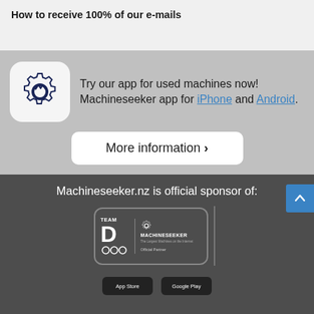How to receive 100% of our e-mails
Try our app for used machines now! Machineseeker app for iPhone and Android.
More information >
Machineseeker.nz is official sponsor of:
[Figure (logo): Team Germany Olympics badge with Machineseeker logo and 'Official Partner' text]